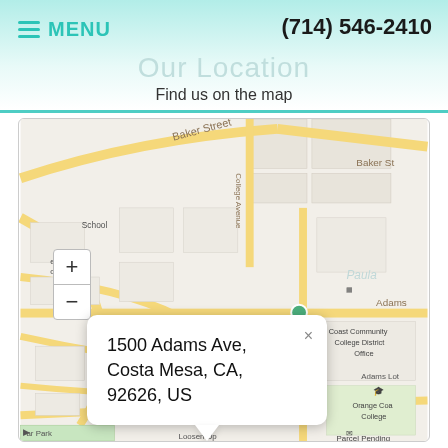MENU  (714) 546-2410
Our Location
Find us on the map
[Figure (map): Street map showing location at 1500 Adams Ave, Costa Mesa, CA, 92626, US. Map shows Baker Street, College Avenue, Harbor Blvd, Adams, Mesa Verde Dr E, with landmarks including Coast Community College District Office, Orange Coast College, Vons, Costa Mesa Main, and a map marker with popup showing the address.]